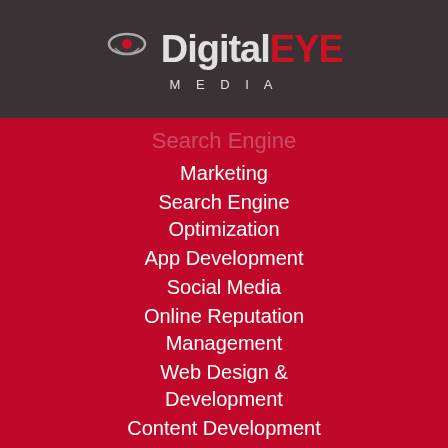[Figure (logo): DigitalEYE MEDIA logo with camera lens icon, white and red text on dark grey background]
Search Engine Marketing
Search Engine Optimization
App Development
Social Media
Online Reputation Management
Web Design & Development
Content Development
Brand Development
Video
Photography
Portfolio
Go Rentals
BOA USA